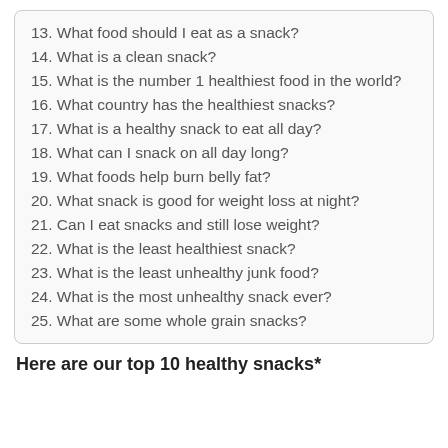13. What food should I eat as a snack?
14. What is a clean snack?
15. What is the number 1 healthiest food in the world?
16. What country has the healthiest snacks?
17. What is a healthy snack to eat all day?
18. What can I snack on all day long?
19. What foods help burn belly fat?
20. What snack is good for weight loss at night?
21. Can I eat snacks and still lose weight?
22. What is the least healthiest snack?
23. What is the least unhealthy junk food?
24. What is the most unhealthy snack ever?
25. What are some whole grain snacks?
Here are our top 10 healthy snacks*